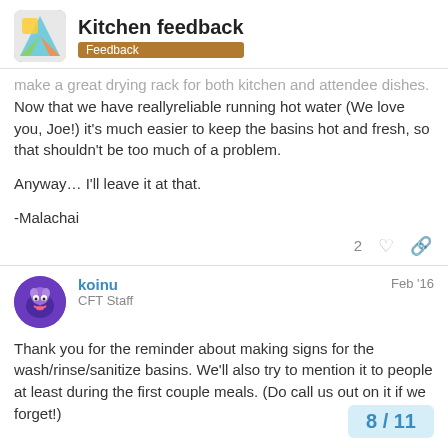Kitchen feedback | Feedback
make a great drying rack for both kitchen and attendee dishes. Now that we have reallyreliable running hot water (We love you, Joe!) it's much easier to keep the basins hot and fresh, so that shouldn't be too much of a problem.

Anyway… I'll leave it at that.

-Malachai
koinu CFT Staff Feb '16
Thank you for the reminder about making signs for the wash/rinse/sanitize basins. We'll also try to mention it to people at least during the first couple meals. (Do call us out on it if we forget!)
8 / 11